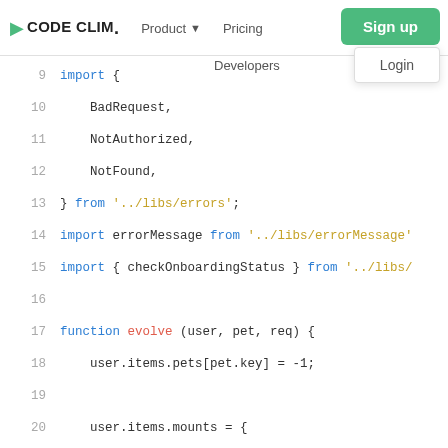CODE CLIM. | Product | Pricing | Sign up | Login | Developers
[Figure (screenshot): Code editor screenshot showing JavaScript import statements and a function named 'evolve', lines 9-25. Navigation bar with CODE CLIMATE logo, Product, Pricing nav links, Sign up button, Login dropdown, and Developers link visible.]